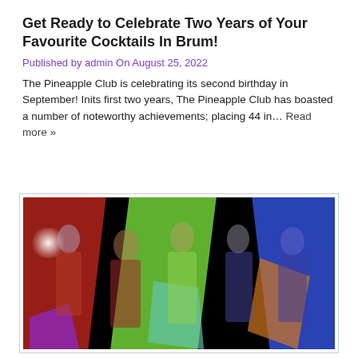Get Ready to Celebrate Two Years of Your Favourite Cocktails In Brum!
Published by admin On August 25, 2022
The Pineapple Club is celebrating its second birthday in September! Inits first two years, The Pineapple Club has boasted a number of noteworthy achievements; placing 44 in… Read more »
[Figure (photo): Group of five people on a dark stage lit with colorful spotlights in red, green, blue, orange and teal. The figures are partially illuminated creating a dramatic, artistic performance look.]